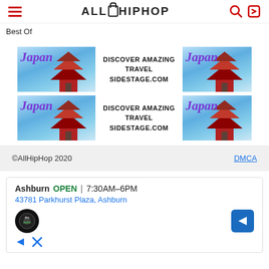ALLHIPHOP — Best Of
Best Of
[Figure (infographic): Two Japan travel advertisement banners side by side repeating 'DISCOVER AMAZING TRAVEL SIDESTAGE.COM' with Japan pagoda imagery]
[Figure (infographic): Two Japan travel advertisement banners side by side repeating 'DISCOVER AMAZING TRAVEL SIDESTAGE.COM' with Japan pagoda imagery]
©AllHipHop 2020    DMCA
[Figure (infographic): Ashburn OPEN 7:30AM-6PM | 43781 Parkhurst Plaza, Ashburn — auto tire service ad with logo and navigation arrow]